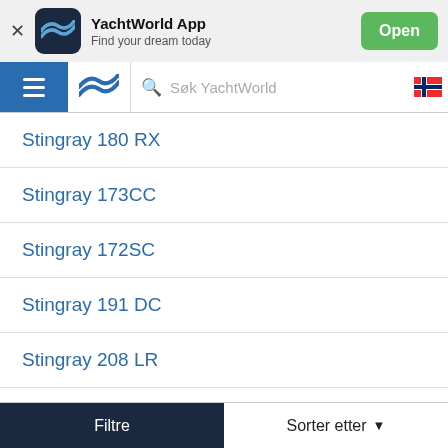[Figure (screenshot): YachtWorld app banner with logo, title 'YachtWorld App', subtitle 'Find your dream today', and green Open button]
Søk YachtWorld
Stingray 180 RX
Stingray 173CC
Stingray 172SC
Stingray 191 DC
Stingray 208 LR
Stingray 216CC
Stingray 220 LX
Stingray 225 LR
Filtre   Sorter etter